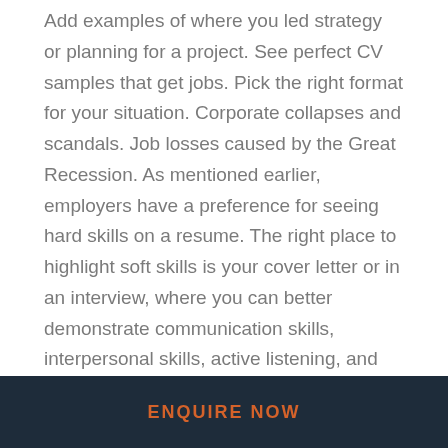Add examples of where you led strategy or planning for a project. See perfect CV samples that get jobs. Pick the right format for your situation. Corporate collapses and scandals. Job losses caused by the Great Recession. As mentioned earlier, employers have a preference for seeing hard skills on a resume. The right place to highlight soft skills is your cover letter or in an interview, where you can better demonstrate communication skills, interpersonal skills, active listening, and more.
Use Adobe InDesign and stick to an A portrait sizeandnbspalways export your CV as a. Make your PDF interactiveinclude clickable links to your websites and social media handles. We and our
ENQUIRE NOW